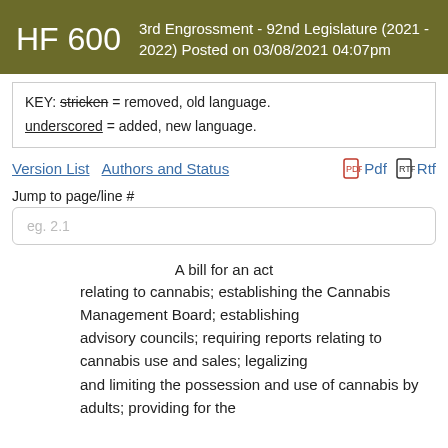HF 600   3rd Engrossment - 92nd Legislature (2021 - 2022) Posted on 03/08/2021 04:07pm
KEY: stricken = removed, old language. underscored = added, new language.
Version List   Authors and Status   Pdf   Rtf
Jump to page/line #
eg. 2.1
A bill for an act
relating to cannabis; establishing the Cannabis Management Board; establishing advisory councils; requiring reports relating to cannabis use and sales; legalizing and limiting the possession and use of cannabis by adults; providing for the